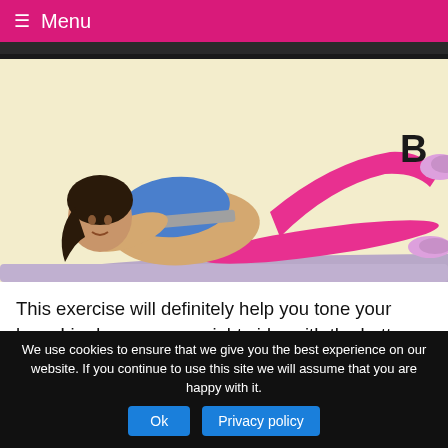≡ Menu
[Figure (photo): Woman lying on her right side on an exercise mat demonstrating a leg raise exercise. She wears a blue sports bra and pink leggings with sneakers. A bold letter B appears in the upper right of the image on a cream/yellow background.]
This exercise will definitely help you tone your legs. Lie down on your right side, with the bottom leg stretched out. Cross the upper leg over and place your foot on the ground. Do not move your upper body! Raise the leg below
We use cookies to ensure that we give you the best experience on our website. If you continue to use this site we will assume that you are happy with it.
Ok   Privacy policy